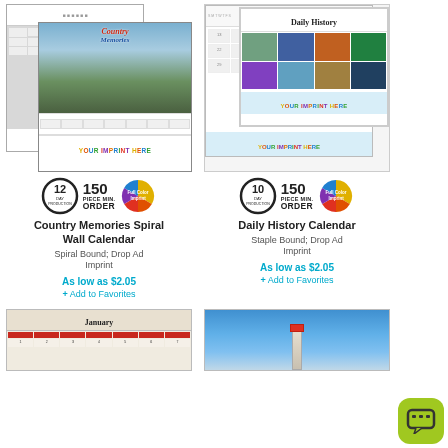[Figure (photo): Country Memories Spiral Wall Calendar product image with 'YOUR IMPRINT HERE' bar]
[Figure (photo): Daily History Calendar product image with 'YOUR IMPRINT HERE' bar]
[Figure (infographic): Badges: 12-day production circle, 150 PIECE MIN. ORDER, Full Color Imprint color wheel]
[Figure (infographic): Badges: 10-day production circle, 150 PIECE MIN. ORDER, Full Color Imprint color wheel]
Country Memories Spiral Wall Calendar
Daily History Calendar
Spiral Bound; Drop Ad Imprint
Staple Bound; Drop Ad Imprint
As low as $2.05
As low as $2.05
+ Add to Favorites
+ Add to Favorites
[Figure (photo): January calendar thumbnail]
[Figure (photo): Lighthouse photo thumbnail]
[Figure (illustration): Chat bubble icon button (green rounded square with speech bubble icon)]